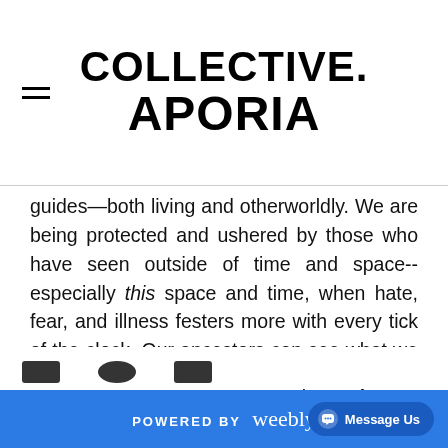COLLECTIVE. APORIA
guides—both living and otherworldly. We are being protected and ushered by those who have seen outside of time and space--especially this space and time, when hate, fear, and illness festers more with every tick of the clock. Our ancestors can see what we cannot; let them advise and empower you as you step out from this lunar threshold.
POWERED BY weebly | Message Us